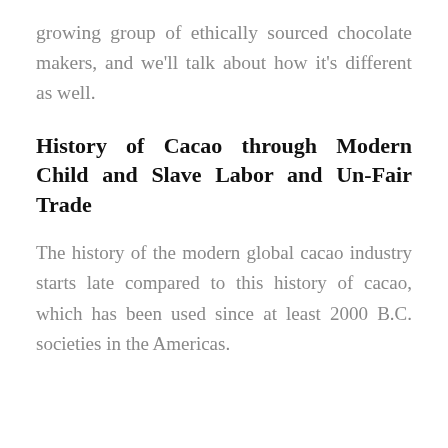growing group of ethically sourced chocolate makers, and we'll talk about how it's different as well.
History of Cacao through Modern Child and Slave Labor and Un-Fair Trade
The history of the modern global cacao industry starts late compared to this history of cacao, which has been used since at least 2000 B.C. societies in the Americas.